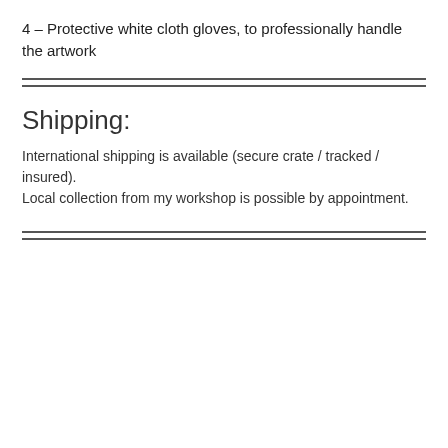4 – Protective white cloth gloves, to professionally handle the artwork
Shipping:
International shipping is available (secure crate / tracked / insured).
Local collection from my workshop is possible by appointment.